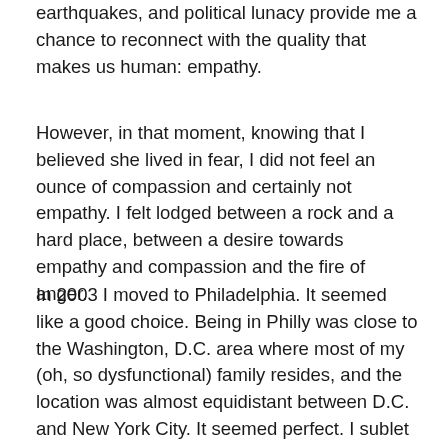earthquakes, and political lunacy provide me a chance to reconnect with the quality that makes us human: empathy.
However, in that moment, knowing that I believed she lived in fear, I did not feel an ounce of compassion and certainly not empathy. I felt lodged between a rock and a hard place, between a desire towards empathy and compassion and the fire of anger.
In 2003 I moved to Philadelphia. It seemed like a good choice. Being in Philly was close to the Washington, D.C. area where most of my (oh, so dysfunctional) family resides, and the location was almost equidistant between D.C. and New York City. It seemed perfect. I sublet an apartment in a pleasant part of the city—lots of trees and single family homes with gardens. I'd found the listing on the board of a food co-op, a place where I loved to hang